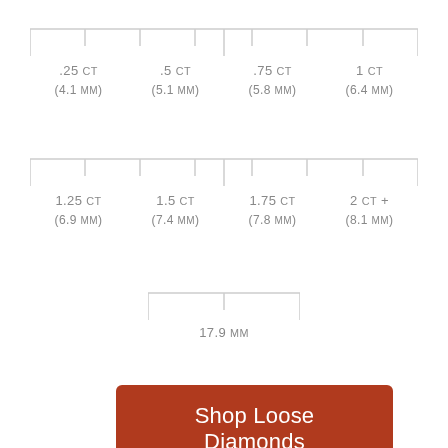[Figure (other): Ruler/scale graphic showing diamond size comparisons, row 1 with 8 tick marks]
.25 CT
(4.1 MM)

.5 CT
(5.1 MM)

.75 CT
(5.8 MM)

1 CT
(6.4 MM)
[Figure (other): Ruler/scale graphic showing diamond size comparisons, row 2 with 8 tick marks]
1.25 CT
(6.9 MM)

1.5 CT
(7.4 MM)

1.75 CT
(7.8 MM)

2 CT +
(8.1 MM)
[Figure (other): Short ruler graphic showing 17.9 MM span]
17.9 MM
Shop Loose Diamonds